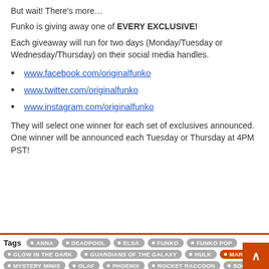But wait! There's more…
Funko is giving away one of EVERY EXCLUSIVE!
Each giveaway will run for two days (Monday/Tuesday or Wednesday/Thursday) on their social media handles.
www.facebook.com/originalfunko
www.twitter.com/originalfunko
www.instagram.com/originalfunko
They will select one winner for each set of exclusives announced. One winner will be announced each Tuesday or Thursday at 4PM PST!
Tags  ANNA  DEADPOOL  ELSA  FUNKO  FUNKO POP  GLOW IN THE DARK  GUARDIANS OF THE GALAXY  HULK  MARVEL  MYSTERY MINIS  OLAF  PHOENIX  ROCKET RACCOON  SDCC